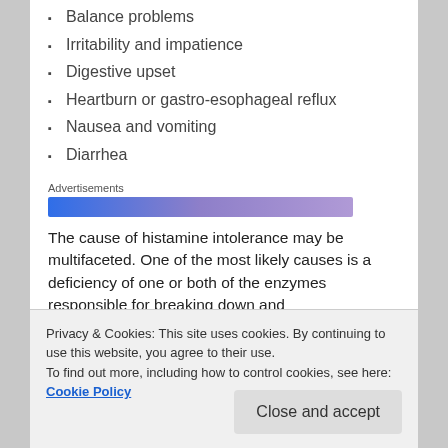Balance problems
Irritability and impatience
Digestive upset
Heartburn or gastro-esophageal reflux
Nausea and vomiting
Diarrhea
[Figure (other): Advertisements banner bar with blue-to-purple gradient]
The cause of histamine intolerance may be multifaceted. One of the most likely causes is a deficiency of one or both of the enzymes responsible for breaking down and
Privacy & Cookies: This site uses cookies. By continuing to use this website, you agree to their use.
To find out more, including how to control cookies, see here: Cookie Policy